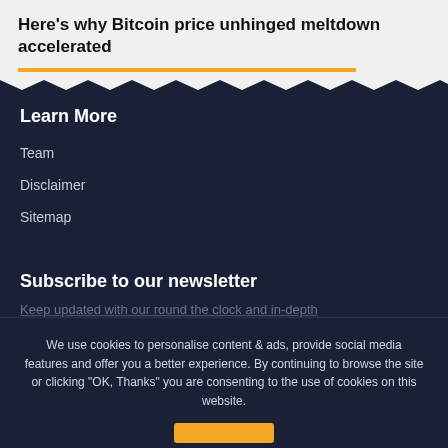Here's why Bitcoin price unhinged meltdown accelerated
Learn More
Team
Disclaimer
Sitemap
Subscribe to our newsletter
Keep updated with our round the clock and in-depth
We use cookies to personalise content & ads, provide social media features and offer you a better experience. By continuing to browse the site or clicking "OK, Thanks" you are consenting to the use of cookies on this website.